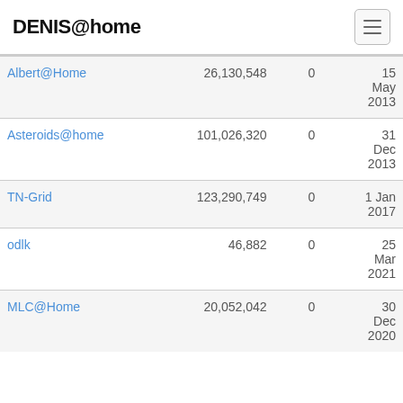DENIS@home
|  |  |  |  |
| --- | --- | --- | --- |
| Albert@Home | 26,130,548 | 0 | 15 May 2013 |
| Asteroids@home | 101,026,320 | 0 | 31 Dec 2013 |
| TN-Grid | 123,290,749 | 0 | 1 Jan 2017 |
| odlk | 46,882 | 0 | 25 Mar 2021 |
| MLC@Home | 20,052,042 | 0 | 30 Dec 2020 |